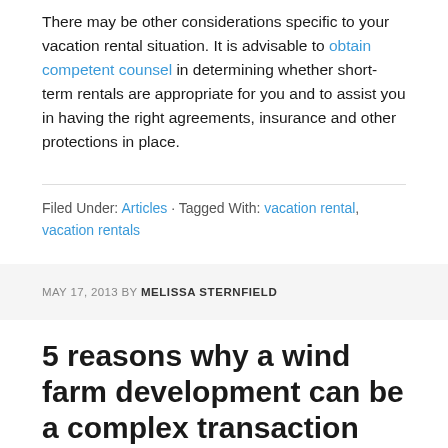There may be other considerations specific to your vacation rental situation. It is advisable to obtain competent counsel in determining whether short-term rentals are appropriate for you and to assist you in having the right agreements, insurance and other protections in place.
Filed Under: Articles · Tagged With: vacation rental, vacation rentals
MAY 17, 2013 BY MELISSA STERNFIELD
5 reasons why a wind farm development can be a complex transaction